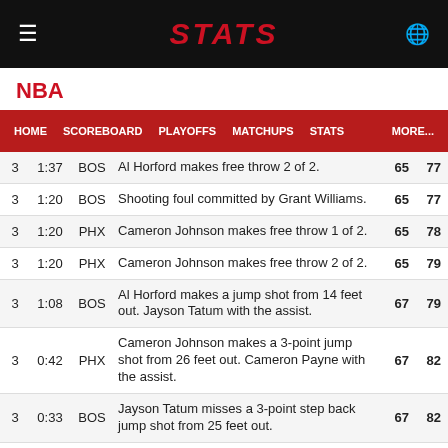STATS
NBA
| QTR | TIME | TEAM | DESCRIPTION | BOS | PHX |
| --- | --- | --- | --- | --- | --- |
| 3 | 1:37 | BOS | Al Horford makes free throw 2 of 2. | 65 | 77 |
| 3 | 1:20 | BOS | Shooting foul committed by Grant Williams. | 65 | 77 |
| 3 | 1:20 | PHX | Cameron Johnson makes free throw 1 of 2. | 65 | 78 |
| 3 | 1:20 | PHX | Cameron Johnson makes free throw 2 of 2. | 65 | 79 |
| 3 | 1:08 | BOS | Al Horford makes a jump shot from 14 feet out. Jayson Tatum with the assist. | 67 | 79 |
| 3 | 0:42 | PHX | Cameron Johnson makes a 3-point jump shot from 26 feet out. Cameron Payne with the assist. | 67 | 82 |
| 3 | 0:33 | BOS | Jayson Tatum misses a 3-point step back jump shot from 25 feet out. | 67 | 82 |
| 3 | 0:31 | BOS | Romeo Langford with an offensive rebound. | 67 | 82 |
| 3 | 0:28 | BOS | Romeo Langford makes a putback layup. | 69 | 82 |
| 3 | 0:11 | BOS | Personal foul committed by Jayson Tatum. | 69 | 82 |